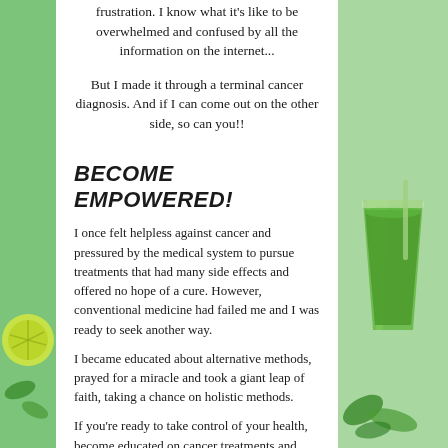frustration. I know what it's like to be overwhelmed and confused by all the information on the internet...
But I made it through a terminal cancer diagnosis. And if I can come out on the other side, so can you!!
BECOME EMPOWERED!
I once felt helpless against cancer and pressured by the medical system to pursue treatments that had many side effects and offered no hope of a cure. However, conventional medicine had failed me and I was ready to seek another way.
I became educated about alternative methods, prayed for a miracle and took a giant leap of faith, taking a chance on holistic methods.
If you're ready to take control of your health, become educated on cancer treatments and